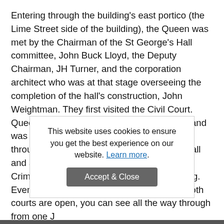Entering through the building's east portico (the Lime Street side of the building), the Queen was met by the Chairman of the St George's Hall committee, John Buck Lloyd, the Deputy Chairman, JH Turner, and the corporation architect who was at that stage overseeing the completion of the hall's construction, John Weightman. They first visited the Civil Court. Queen Victoria stood on the Judge's Bench and was able to appreciate the view all the way through that courtroom, through the Great Hall and all the way to the Judge's Bench in the Criminal Court at the other end of the building. Even today, when the doors at the back of both courts are open, you can see all the way through from one Judge's Bench to the other — effectively the same
This website uses cookies to ensure you get the best experience on our website. Learn more. Accept & Close